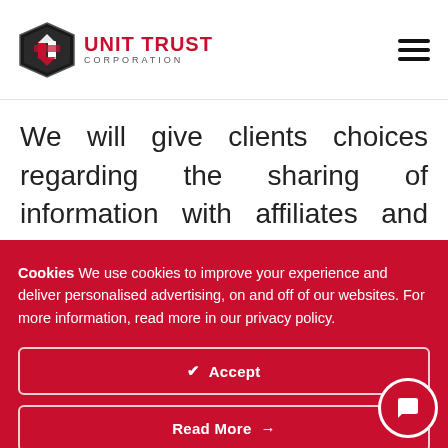[Figure (logo): Unit Trust Corporation logo with shield icon and red text]
We will give clients choices regarding the sharing of information with affiliates and third parties in accordance with applicable law and
Cookies We use cookies to improve your experience and deliver personalised advertising, on and off of our websites. For more information, read more in our privacy policy.
Accept
Read More →
Cookies Settings ⚙